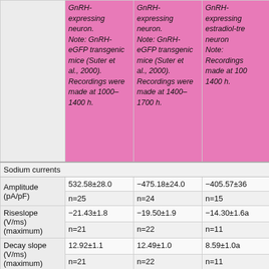|  | GnRH-expressing neuron. Note: GnRH-eGFP transgenic mice (Suter et al., 2000). Recordings were made at 1000–1400 h. | GnRH-expressing neuron. Note: GnRH-eGFP transgenic mice (Suter et al., 2000). Recordings were made at 1400–1700 h. | GnRH-expressing estradiol-treated neuron Note: Recordings made at 1000–1400 h. |
| --- | --- | --- | --- |
| Sodium currents |  |  |  |
| Amplitude (pA/pF) | 532.58±28.0 | −475.18±24.0 | −405.57±36... |
|  | n=25 | n=24 | n=15 |
| Riseslope (V/ms) (maximum) | −21.43±1.8 | −19.50±1.9 | −14.30±1.6a |
|  | n=21 | n=22 | n=11 |
| Decay slope (V/ms) (maximum) | 12.92±1.1 | 12.49±1.0 | 8.59±1.0a |
|  | n=21 | n=22 | n=11 |
| Width (1/2 | 0.47+0.006 | 0.49+0.02 | 0.49+0.02 |